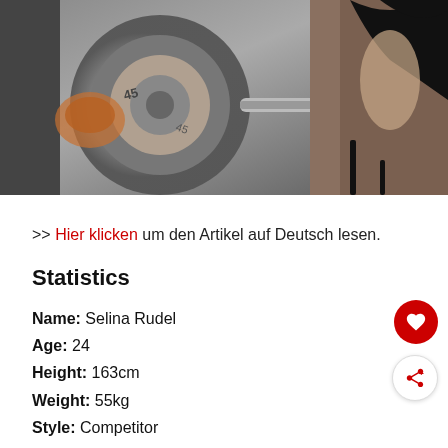[Figure (photo): Photo of a woman in a gym holding barbells/weights, dark hair, wearing a black sports bra, close-up shot with gym equipment visible]
>> Hier klicken um den Artikel auf Deutsch lesen.
Statistics
Name: Selina Rudel
Age: 24
Height: 163cm
Weight: 55kg
Style: Competitor
How did you get started with